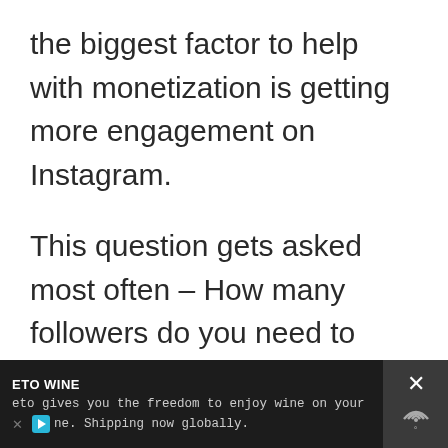the biggest factor to help with monetization is getting more engagement on Instagram.
This question gets asked most often – How many followers do you need to make money on Instagram?
While there is no magic number to this, what really matters is how active your followers are. This is
[Figure (other): Circular floating action buttons: heart (cyan/blue) and share (light gray) on right side]
[Figure (other): Advertisement banner at bottom: dark background showing ETO WINE ad with text 'eto gives you the freedom to enjoy wine on your home. Shipping now globally.' with close button on right]